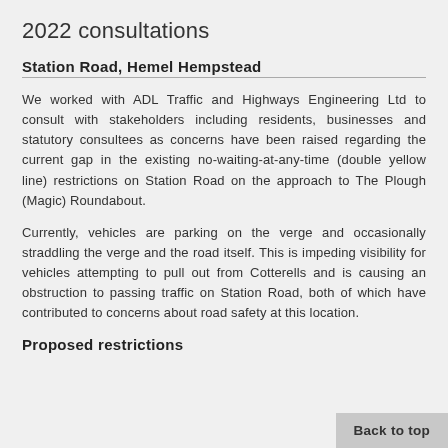2022 consultations
Station Road, Hemel Hempstead
We worked with ADL Traffic and Highways Engineering Ltd to consult with stakeholders including residents, businesses and statutory consultees as concerns have been raised regarding the current gap in the existing no-waiting-at-any-time (double yellow line) restrictions on Station Road on the approach to The Plough (Magic) Roundabout.
Currently, vehicles are parking on the verge and occasionally straddling the verge and the road itself. This is impeding visibility for vehicles attempting to pull out from Cotterells and is causing an obstruction to passing traffic on Station Road, both of which have contributed to concerns about road safety at this location.
Proposed restrictions
Back to top